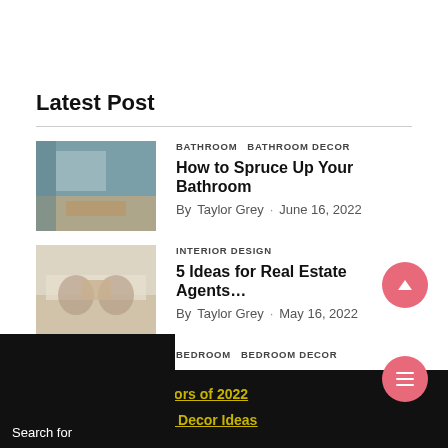Latest Post
[Figure (photo): Bathroom interior with teal/grey walls and wooden vanity]
BATHROOM   BATHROOM DECOR
How to Spruce Up Your Bathroom
By  Taylor Grey  ·  June 16, 2022
[Figure (photo): Interior design room with dining chairs and light walls]
INTERIOR DESIGN
5 Ideas for Real Estate Agents…
By  Taylor Grey  ·  May 16, 2022
[Figure (photo): Bedroom interior photo (partially visible)]
BEDROOM   BEDROOM DECOR   BEDROOM IDEAS
1. Best Bedroom Colors of 2022
2. Cheap Farmhouse Decor Ideas
Search for